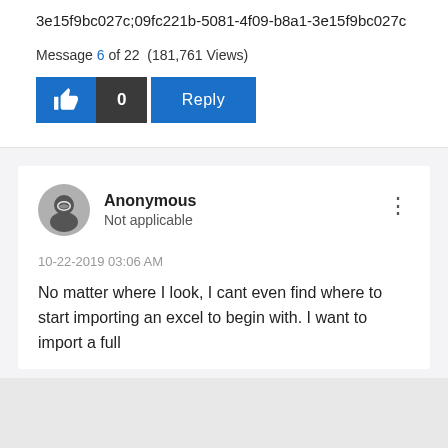3e15f9bc027c;09fc221b-5081-4f09-b8a1-3e15f9bc027c
Message 6 of 22 (181,761 Views)
[Figure (screenshot): Like button with thumbs up icon, count of 0, and Reply button]
[Figure (screenshot): Anonymous user avatar with masked face icon]
Anonymous
Not applicable
10-22-2019 03:06 AM
No matter where I look, I cant even find where to start importing an excel to begin with. I want to import a full